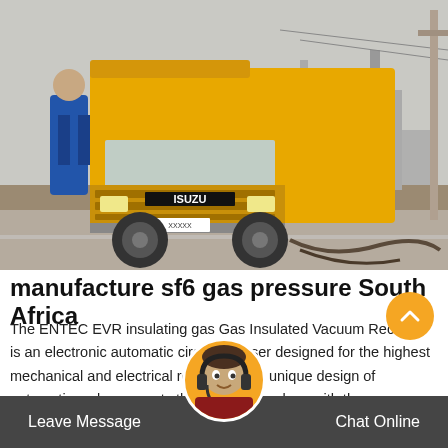[Figure (photo): Yellow Isuzu truck parked at an electrical substation/industrial facility. A worker in blue is visible near the truck. Industrial structures and power lines visible in background.]
manufacture sf6 gas pressure South Africa
The ENTEC EVR insulating gas Gas Insulated Vacuum Recloser is an electronic automatic circuit recloser designed for the highest mechanical and electrical reliability. The unique design of automatic recloser meets the latest technology with the combination of vacuum interruption, bi-stable magnetic actuator sealed in a
Leave Message | Chat Online